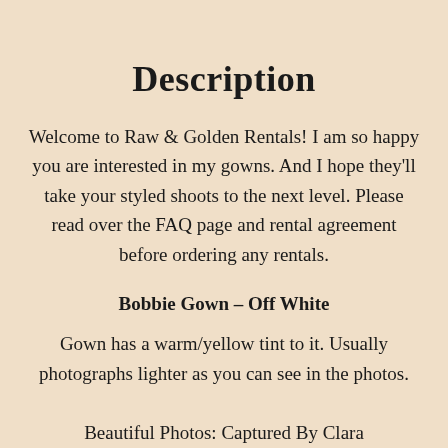Description
Welcome to Raw & Golden Rentals! I am so happy you are interested in my gowns. And I hope they'll take your styled shoots to the next level. Please read over the FAQ page and rental agreement before ordering any rentals.
Bobbie Gown – Off White
Gown has a warm/yellow tint to it. Usually photographs lighter as you can see in the photos.
Beautiful Photos: Captured By Clara